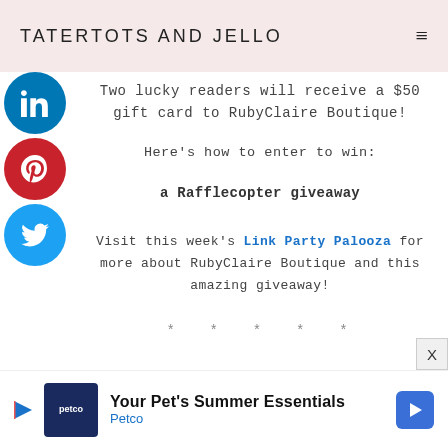TATERTOTS AND JELLO
Two lucky readers will receive a $50 gift card to RubyClaire Boutique!
Here's how to enter to win:
a Rafflecopter giveaway
Visit this week's Link Party Palooza for more about RubyClaire Boutique and this amazing giveaway!
* * * * *
[Figure (other): Petco ad banner: Your Pet's Summer Essentials - Petco]